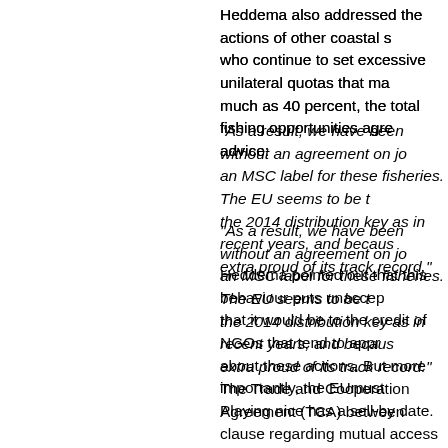Heddema also addressed the actions of other coastal states who continue to set excessive unilateral quotas that may, by as much as 40 percent, the total fishing opportunities agreed upon advice:
“As a result, we have been without an agreement on joint management and an MSC label for these fisheries. The EU seems to be the only one using the 2014 distribution key as in recent years, and because of that it can be extra proud of its track record.”
Heddema pointed out that this behaviour puts unacceptable pressure and that it would be to the credit of NGOs that tend to approve MSC to speak out about these actions. But more importantly, the EUmust start using its power. Playing nice has a sell-by date.
The Trade and Cooperation Agreement (TCA) between the EU and UK has a clause regarding mutual access for fisheries after 5½ years. This creates uncertainty for European fishers and shipowners and threatens their investments and innovations. In case the UK would consider unilaterally denying access or even quota shares, the EU should be prepared to meet that by also using its power as the main market for UK (seafood) exports b